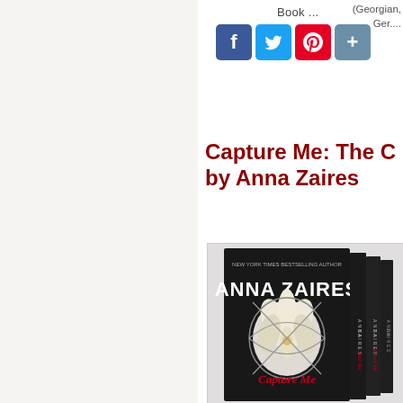Book ...
(Georgian, Ger....
[Figure (screenshot): Social sharing icons: Facebook (blue), Twitter (blue), Pinterest (red), Share (gray)]
Capture Me: The … by Anna Zaires
[Figure (photo): Book box set by Anna Zaires featuring 'Capture Me' series with a white lily flower on dark background, multiple book spines visible]